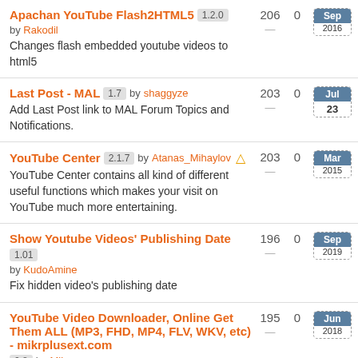Apachan YouTube Flash2HTML5 1.2.0 by Rakodil
Changes flash embedded youtube videos to html5
Installs: 206, Rating: 0, Updated: Sep 2016
Last Post - MAL 1.7 by shaggyze
Add Last Post link to MAL Forum Topics and Notifications.
Installs: 203, Rating: 0, Updated: Jul 23
YouTube Center 2.1.7 by Atanas_Mihaylov ⚠
YouTube Center contains all kind of different useful functions which makes your visit on YouTube much more entertaining.
Installs: 203, Rating: 0, Updated: Mar 2015
Show Youtube Videos' Publishing Date 1.01 by KudoAmine
Fix hidden video's publishing date
Installs: 196, Rating: 0, Updated: Sep 2019
YouTube Video Downloader, Online Get Them ALL (MP3, FHD, MP4, FLV, WKV, etc) - mikrplusext.com 2.8 by Mikr
This script helps to add a YouTube download button.
Installs: 195, Rating: 0, Updated: Jun 2018